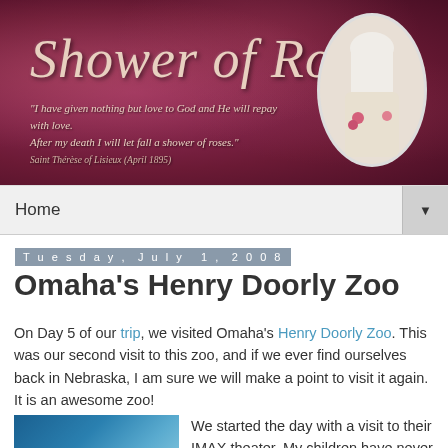[Figure (illustration): Shower of Roses blog banner with dark rose/mauve background, decorative script title 'Shower of Roses', an italic quote about giving love to God and a shower of roses attributed to Saint Thérèse of Lisieux (April 1895), and an oval portrait of Saint Thérèse on the right side.]
Home ▼
Tuesday, July 1, 2008
Omaha's Henry Doorly Zoo
On Day 5 of our trip, we visited Omaha's Henry Doorly Zoo. This was our second visit to this zoo, and if we ever find ourselves back in Nebraska, I am sure we will make a point to visit it again. It is an awesome zoo!
[Figure (photo): Photo of IMAX theater exterior or screen, blue sky tones]
We started the day with a visit to their IMAX theater. My children have never